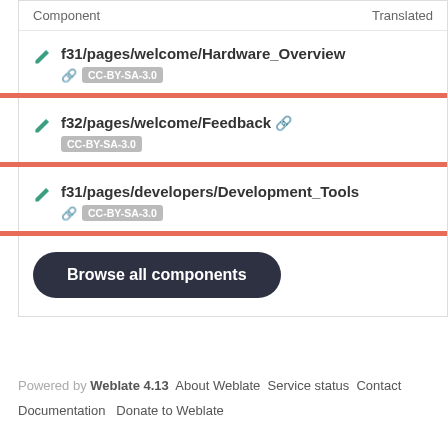| Component | Translated |
| --- | --- |
| f31/pages/welcome/Hardware_Overview | CC-BY-SA-3.0 |
| f32/pages/welcome/Feedback | CC-BY-SA-3.0 |
| f31/pages/developers/Development_Tools | CC-BY-SA-3.0 |
Browse all components
Powered by Weblate 4.13  About Weblate  Service status  Contact  Documentation  Donate to Weblate